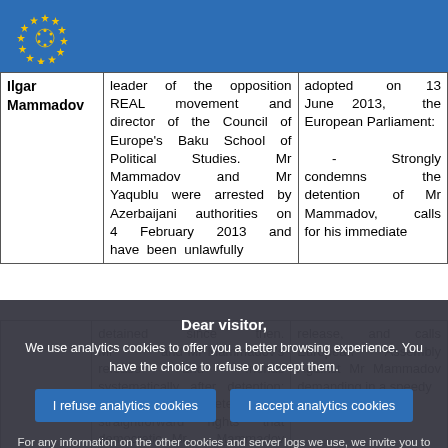European Parliament logo
| Name | Description | Action |
| --- | --- | --- |
| Ilgar Mammadov | leader of the opposition REAL movement and director of the Council of Europe's Baku School of Political Studies. Mr Mammadov and Mr Yaqublu were arrested by Azerbaijani authorities on 4 February 2013 and have been unlawfully | adopted on 13 June 2013, the European Parliament: - Strongly condemns the detention of Mr Mammadov, calls for his immediate |
Dear visitor, We use analytics cookies to offer you a better browsing experience. You have the choice to refuse or accept them.
For any information on the other cookies and server logs we use, we invite you to read our data protection policy , our cookies policy and our cookies inventory.